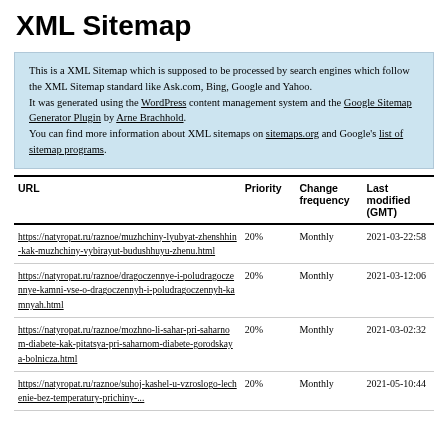XML Sitemap
This is a XML Sitemap which is supposed to be processed by search engines which follow the XML Sitemap standard like Ask.com, Bing, Google and Yahoo.
It was generated using the WordPress content management system and the Google Sitemap Generator Plugin by Arne Brachhold.
You can find more information about XML sitemaps on sitemaps.org and Google's list of sitemap programs.
| URL | Priority | Change frequency | Last modified (GMT) |
| --- | --- | --- | --- |
| https://natyropat.ru/raznoe/muzhchiny-lyubyat-zhenshhin-kak-muzhchiny-vybirayut-budushhuyu-zhenu.html | 20% | Monthly | 2021-03-22:58 |
| https://natyropat.ru/raznoe/dragoczennye-i-poludragoczennye-kamni-vse-o-dragoczennyh-i-poludragoczennyh-kamnyah.html | 20% | Monthly | 2021-03-12:06 |
| https://natyropat.ru/raznoe/mozhno-li-sahar-pri-saharnom-diabete-kak-pitatsya-pri-saharnom-diabete-gorodskaya-bolnicza.html | 20% | Monthly | 2021-03-02:32 |
| https://natyropat.ru/raznoe/suhoj-kashel-u-vzroslogo-lechenie-bez-temperatury-prichiny-... | 20% | Monthly | 2021-05-10:44 |